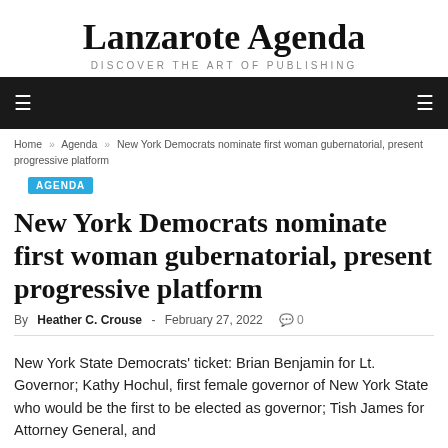Lanzarote Agenda
DISCOVER THE ART OF PUBLISHING
Home » Agenda » New York Democrats nominate first woman gubernatorial, present progressive platform
AGENDA
New York Democrats nominate first woman gubernatorial, present progressive platform
By Heather C. Crouse - February 27, 2022  0
New York State Democrats' ticket: Brian Benjamin for Lt. Governor; Kathy Hochul, first female governor of New York State who would be the first to be elected as governor, Tish James for Attorney General, and...